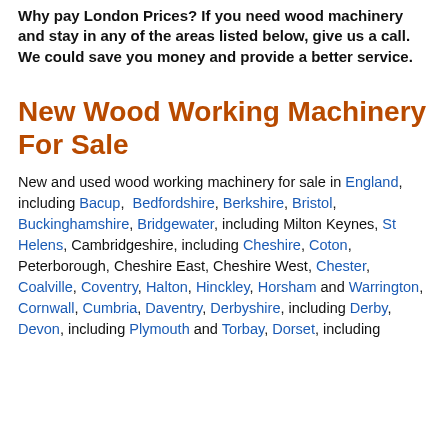Why pay London Prices? If you need wood machinery and stay in any of the areas listed below, give us a call. We could save you money and provide a better service.
New Wood Working Machinery For Sale
New and used wood working machinery for sale in England, including Bacup, Bedfordshire, Berkshire, Bristol, Buckinghamshire, Bridgewater, including Milton Keynes, St Helens, Cambridgeshire, including Cheshire, Coton, Peterborough, Cheshire East, Cheshire West, Chester, Coalville, Coventry, Halton, Hinckley, Horsham and Warrington, Cornwall, Cumbria, Daventry, Derbyshire, including Derby, Devon, including Plymouth and Torbay, Dorset, including